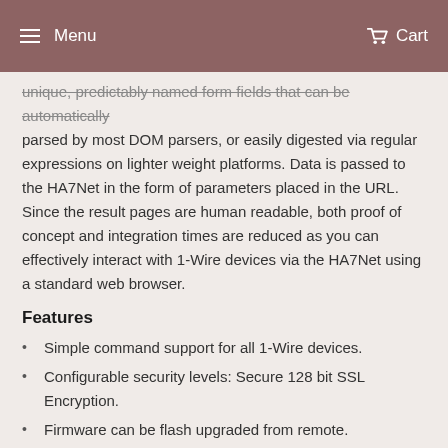Menu  Cart
unique, predictably named form fields that can be automatically parsed by most DOM parsers, or easily digested via regular expressions on lighter weight platforms. Data is passed to the HA7Net in the form of parameters placed in the URL. Since the result pages are human readable, both proof of concept and integration times are reduced as you can effectively interact with 1-Wire devices via the HA7Net using a standard web browser.
Features
Simple command support for all 1-Wire devices.
Configurable security levels: Secure 128 bit SSL Encryption.
Firmware can be flash upgraded from remote.
Manages concurrent client connections safely and reliably.
Debugging functionality helps simplify software integration.
Integrated Real-Time Clock, with option to set periodically from a SNTP server.
3 convenient 1-Wire ports with independently configurable Vcc